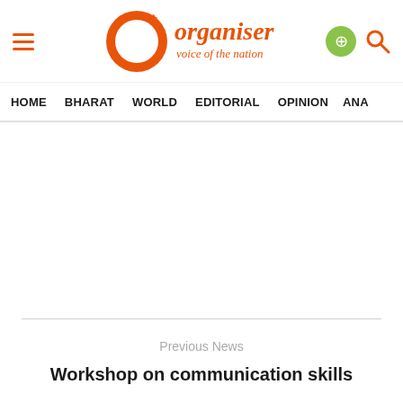[Figure (logo): Organiser magazine logo — orange 'O' circle with text 'organiser' and tagline 'voice of the nation' in orange, with hamburger menu icon on left and Android/search icons on right]
HOME  BHARAT  WORLD  EDITORIAL  OPINION  ANA
Previous News
Workshop on communication skills